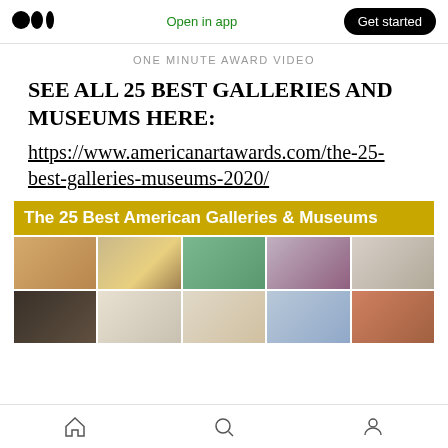Medium logo | Open in app | Get started
ONE MINUTE AWARD VIDEO
SEE ALL 25 BEST GALLERIES AND MUSEUMS HERE:
https://www.americanartawards.com/the-25-best-galleries-museums-2020/
[Figure (photo): Promotional image for The 25 Best American Galleries & Museums, showing a gold banner heading followed by a grid of 10 thumbnail images of gallery and museum interiors.]
Home | Search | Profile navigation icons